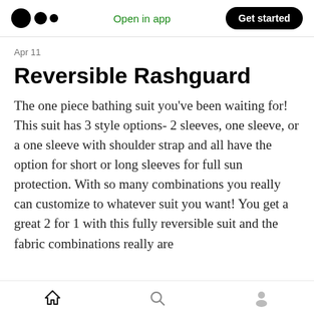Open in app  Get started
Apr 11
Reversible Rashguard
The one piece bathing suit you've been waiting for! This suit has 3 style options- 2 sleeves, one sleeve, or a one sleeve with shoulder strap and all have the option for short or long sleeves for full sun protection. With so many combinations you really can customize to whatever suit you want! You get a great 2 for 1 with this fully reversible suit and the fabric combinations really are
Home  Search  Profile